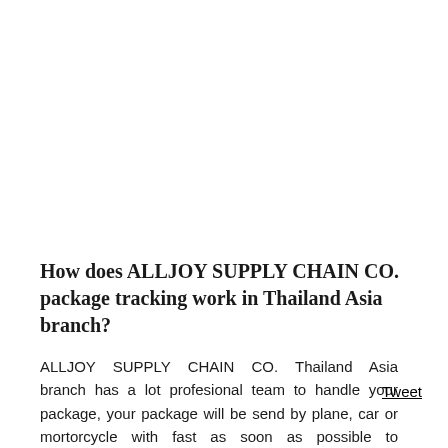How does ALLJOY SUPPLY CHAIN CO. package tracking work in Thailand Asia branch?
ALLJOY SUPPLY CHAIN CO. Thailand Asia branch has a lot profesional team to handle your package, your package will be send by plane, car or mortorcycle with fast as soon as possible to destination according to the Thailand Asia branch services available. Enter your tracking code between 10 and 40 digits long shown on your ALLJOY SUPPLY CHAIN CO. shipping...